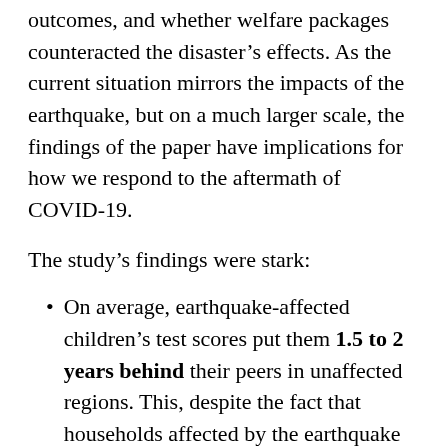outcomes, and whether welfare packages counteracted the disaster's effects. As the current situation mirrors the impacts of the earthquake, but on a much larger scale, the findings of the paper have implications for how we respond to the aftermath of COVID-19.
The study's findings were stark:
On average, earthquake-affected children's test scores put them 1.5 to 2 years behind their peers in unaffected regions. This, despite the fact that households affected by the earthquake received significant financial compensation, which allowed adults' health outcomes and